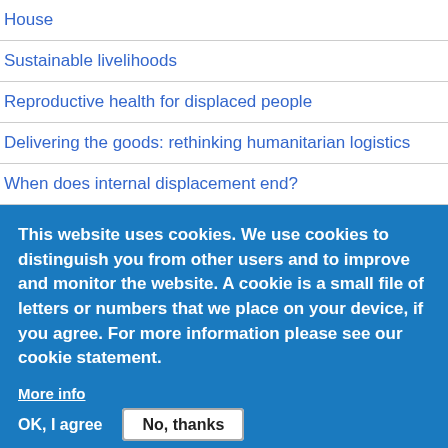House
Sustainable livelihoods
Reproductive health for displaced people
Delivering the goods: rethinking humanitarian logistics
When does internal displacement end?
Researching Internal Displacement
African displacement
Displaced children and adolescents
This website uses cookies. We use cookies to distinguish you from other users and to improve and monitor the website. A cookie is a small file of letters or numbers that we place on your device, if you agree. For more information please see our cookie statement.
More info
OK, I agree
No, thanks